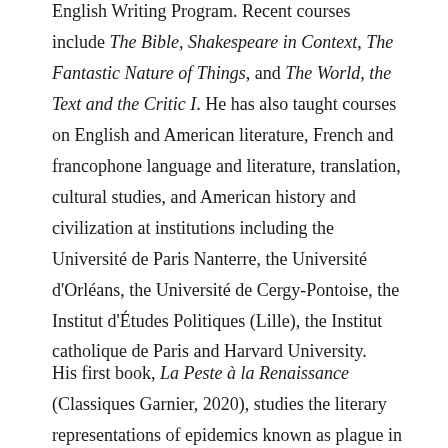English Writing Program. Recent courses include The Bible, Shakespeare in Context, The Fantastic Nature of Things, and The World, the Text and the Critic I. He has also taught courses on English and American literature, French and francophone language and literature, translation, cultural studies, and American history and civilization at institutions including the Université de Paris Nanterre, the Université d'Orléans, the Université de Cergy-Pontoise, the Institut d'Études Politiques (Lille), the Institut catholique de Paris and Harvard University.
His first book, La Peste à la Renaissance (Classiques Garnier, 2020), studies the literary representations of epidemics known as plague in 16th-century France.